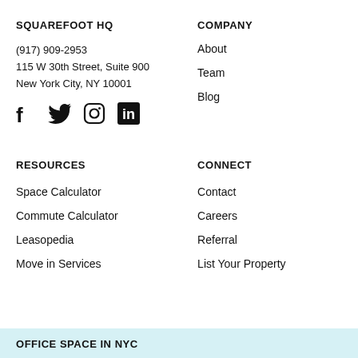SQUAREFOOT HQ
(917) 909-2953
115 W 30th Street, Suite 900
New York City, NY 10001
[Figure (illustration): Social media icons: Facebook, Twitter, Instagram, LinkedIn]
COMPANY
About
Team
Blog
RESOURCES
Space Calculator
Commute Calculator
Leasopedia
Move in Services
CONNECT
Contact
Careers
Referral
List Your Property
OFFICE SPACE IN NYC